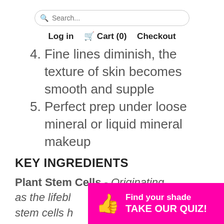Search... Log in  Cart (0)  Checkout
4. Fine lines diminish, the texture of skin becomes smooth and supple
5. Perfect prep under loose mineral or liquid mineral makeup
KEY INGREDIENTS
Plant Stem Cells - Originating as the lifebl... stem cells h...
[Figure (infographic): Pink/magenta call-to-action banner with thumbs up icon, text: Find your shade TAKE OUR QUIZ!]